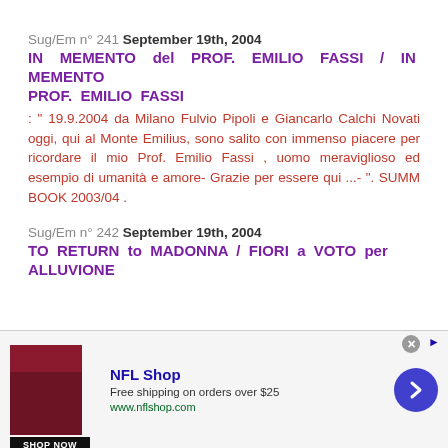Sug/Em n° 241 September 19th, 2004
IN MEMENTO del PROF. EMILIO FASSI / IN MEMENTO PROF. EMILIO FASSI
: " 19.9.2004 da Milano Fulvio Pipoli e Giancarlo Calchi Novati oggi, qui al Monte Emilius, sono salito con immenso piacere per ricordare il mio Prof. Emilio Fassi , uomo meraviglioso ed esempio di umanità e amore- Grazie per essere qui ...- ". SUMM BOOK 2003/04 .
Sug/Em n° 242 September 19th, 2004
TO RETURN to MADONNA / FIORI a VOTO per ALLUVIONE
[Figure (screenshot): NFL Shop advertisement banner with shop now button]